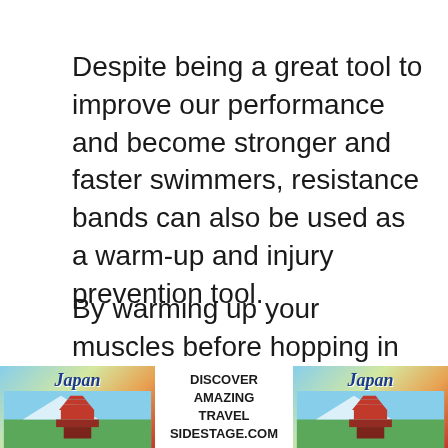Despite being a great tool to improve our performance and become stronger and faster swimmers, resistance bands can also be used as a warm-up and injury prevention tool.
By warming up your muscles before hopping in the pool you are far less likely to sustain an injury. You'll also be able to train and strengthen weaker muscles that may be prone to injury as well as engaging muscles in a different way to avoid overuse injuries in the pool.
[Figure (illustration): Advertisement banner for Japan travel featuring two pagoda/temple images on left and right sides with text 'DISCOVER AMAZING TRAVEL SIDESTAGE.COM' in the center, and 'Japan' logo in italic script on both sides.]